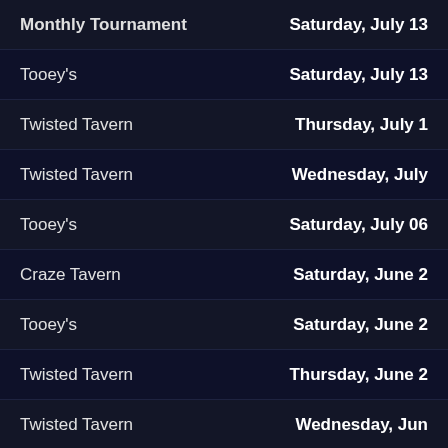Monthly Tournament | Saturday, July 13
Tooey's | Saturday, July 13
Twisted Tavern | Thursday, July 1
Twisted Tavern | Wednesday, July
Tooey's | Saturday, July 06
Craze Tavern | Saturday, June 2
Tooey's | Saturday, June 2
Twisted Tavern | Thursday, June 2
Twisted Tavern | Wednesday, Jun